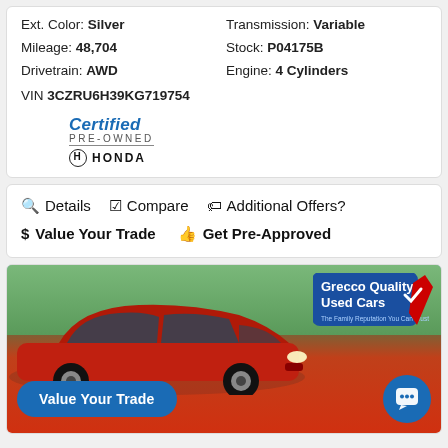Ext. Color: Silver   Transmission: Variable
Mileage: 48,704   Stock: P04175B
Drivetrain: AWD   Engine: 4 Cylinders
VIN 3CZRU6H39KG719754
[Figure (logo): Honda Certified Pre-Owned logo]
Details
Compare
Additional Offers?
Value Your Trade
Get Pre-Approved
[Figure (photo): Red Honda HR-V SUV at Grecco Quality Used Cars dealership lot, with trees in background and Grecco Quality Used Cars logo badge top right. Blue 'Value Your Trade' button bottom left, blue chat bubble button bottom right.]